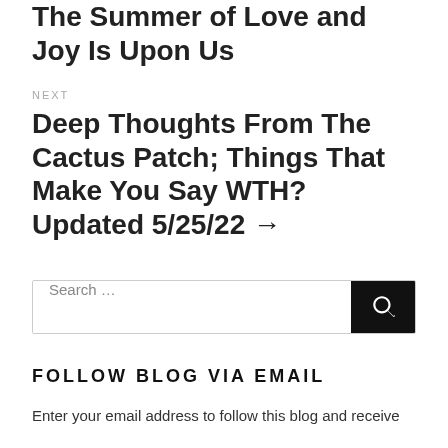← The Summer of Love and Joy Is Upon Us
NEXT
Deep Thoughts From The Cactus Patch; Things That Make You Say WTH? Updated 5/25/22 →
Search …
FOLLOW BLOG VIA EMAIL
Enter your email address to follow this blog and receive